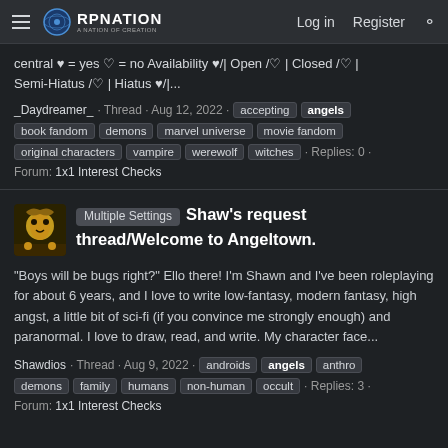RP Nation - Log in - Register
central ♥ = yes ♡ = no Availability ♥/| Open /♡ | Closed /♡ | Semi-Hiatus /♡ | Hiatus ♥/|...
_Daydreamer_ · Thread · Aug 12, 2022 · accepting angels book fandom demons marvel universe movie fandom original characters vampire werewolf witches · Replies: 0 · Forum: 1x1 Interest Checks
Shaw's request thread/Welcome to Angeltown.
"Boys will be bugs right?" Ello there! I'm Shawn and I've been roleplaying for about 6 years, and I love to write low-fantasy, modern fantasy, high angst, a little bit of sci-fi (if you convince me strongly enough) and paranormal. I love to draw, read, and write. My character face...
Shawdios · Thread · Aug 9, 2022 · androids angels anthro demons family humans non-human occult · Replies: 3 · Forum: 1x1 Interest Checks